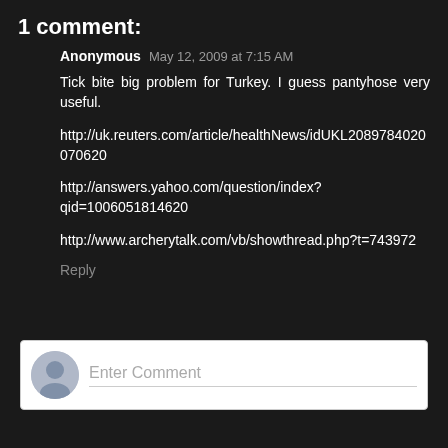1 comment:
Anonymous May 12, 2009 at 7:15 AM
Tick bite big problem for Turkey. I guess pantyhose very useful.
http://uk.reuters.com/article/healthNews/idUKL2089784020070620
http://answers.yahoo.com/question/index?qid=1006051814620
http://www.archerytalk.com/vb/showthread.php?t=743972
Reply
Enter Comment